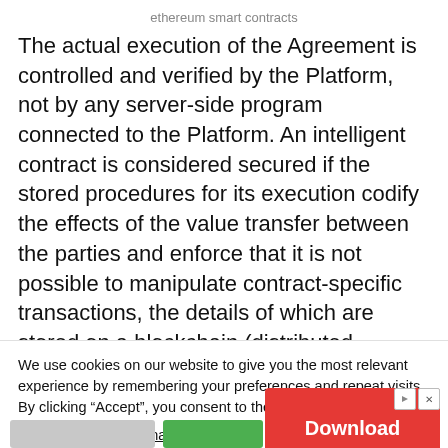ethereum smart contracts
The actual execution of the Agreement is controlled and verified by the Platform, not by any server-side program connected to the Platform. An intelligent contract is considered secured if the stored procedures for its execution codify the effects of the value transfer between the parties and enforce that it is not possible to manipulate contract-specific transactions, the details of which are stored on a blockchain (distributed ledger).
We use cookies on our website to give you the most relevant experience by remembering your preferences and repeat visits. By clicking “Accept”, you consent to the use of ALL the cookies.
Do not sell my personal information.
[Figure (infographic): App download advertisement bar with gray and green input/button elements, a red Download button, and small ad icons.]